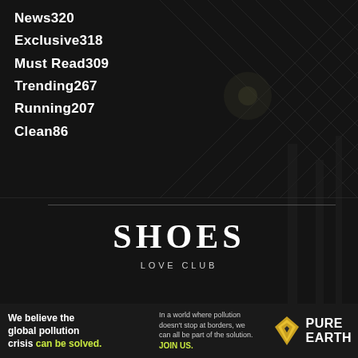News320
Exclusive318
Must Read309
Trending267
Running207
Clean86
SHOES
LOVE CLUB
ABOUT US
[Figure (infographic): Advertisement banner for Pure Earth: 'We believe the global pollution crisis can be solved.' with 'JOIN US.' call to action and Pure Earth logo]